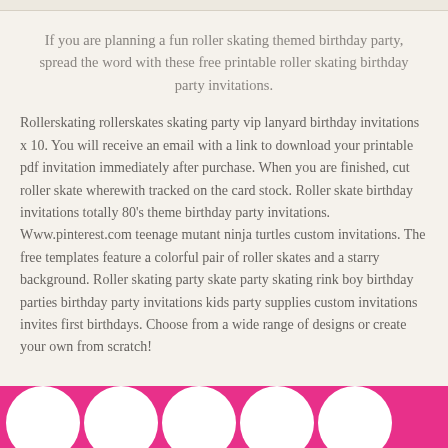If you are planning a fun roller skating themed birthday party, spread the word with these free printable roller skating birthday party invitations.
Rollerskating rollerskates skating party vip lanyard birthday invitations x 10. You will receive an email with a link to download your printable pdf invitation immediately after purchase. When you are finished, cut roller skate wherewith tracked on the card stock. Roller skate birthday invitations totally 80's theme birthday party invitations. Www.pinterest.com teenage mutant ninja turtles custom invitations. The free templates feature a colorful pair of roller skates and a starry background. Roller skating party skate party skating rink boy birthday parties birthday party invitations kids party supplies custom invitations invites first birthdays. Choose from a wide range of designs or create your own from scratch!
[Figure (illustration): Pink bar at the bottom with white circle shapes partially visible along the bottom edge]